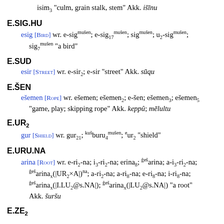isim3 "culm, grain stalk, stem" Akk. išīnu
E.SIG.HU
esig [BIRD] wr. e-sigmušen; e-sig17mušen; sigmušen; u2-sigmušen; sig7mušen "a bird"
E.SUD
esir [STREET] wr. e-sir2; e-sir "street" Akk. sūqu
E.ŠEN
ešemen [ROPE] wr. ešemen; ešemen2; e-šen; ešemen3; ešemen5 "game, play; skipping rope" Akk. keppû; mēlultu
E.UR2
gur [SHIELD] wr. gur21; kušburu4mušen; eur2 "shield"
E.URU.NA
arina [ROOT] wr. e-ri2-na; i3-ri2-na; erina8; gešarina; a-i3-ri2-na; gešarinax(|UR2×A|)na; a-ri2-na; a-ri8-na; e-ri8-na; i-ri8-na; gešarinax(|I.LU2@s.NA|); gešarinax(|LU2@s.NA|) "a root" Akk. šuršu
E.ZE2